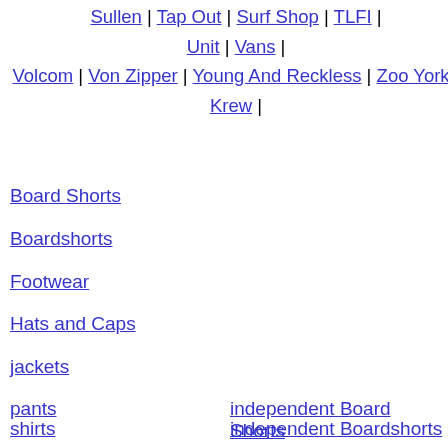Sullen | Tap Out | Surf Shop | TLFI | Unit | Vans | Volcom | Von Zipper | Young And Reckless | Zoo York | Krew |
Board Shorts
Boardshorts
Footwear
Hats and Caps
jackets
pants
independent Board Shorts
shirts
independent Boardshorts
Shoes
independent Footwear
shorts
independent Hats and Caps
surf shirts tees
independent jackets